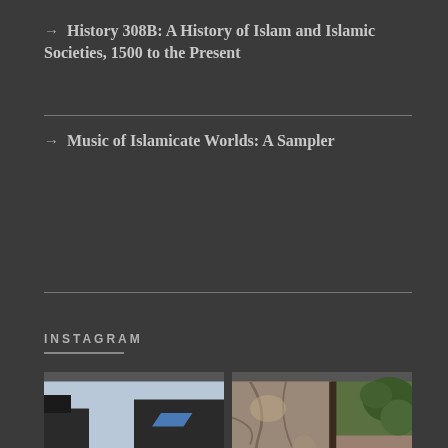→ History 308B: A History of Islam and Islamic Societies, 1500 to the Present
→ Music of Islamicate Worlds: A Sampler
INSTAGRAM
[Figure (photo): Two children standing in front of a large black cannon on a grass field, with historic fort structures visible in the background.]
[Figure (photo): A child in a white outfit standing next to a large rock face or stone wall in a wooded area.]